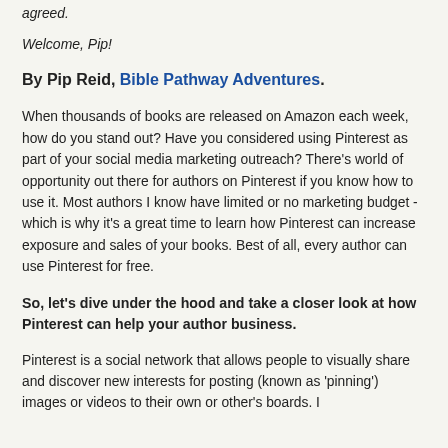agreed.
Welcome, Pip!
By Pip Reid, Bible Pathway Adventures.
When thousands of books are released on Amazon each week, how do you stand out? Have you considered using Pinterest as part of your social media marketing outreach? There's world of opportunity out there for authors on Pinterest if you know how to use it. Most authors I know have limited or no marketing budget - which is why it's a great time to learn how Pinterest can increase exposure and sales of your books. Best of all, every author can use Pinterest for free.
So, let’s dive under the hood and take a closer look at how Pinterest can help your author business.
Pinterest is a social network that allows people to visually share and discover new interests for posting (known as ‘pinning’) images or videos to their own or other’s boards. I